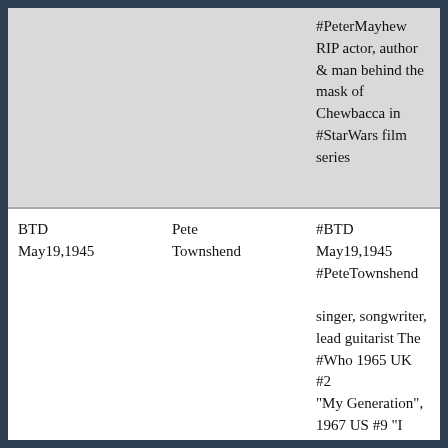|  |  | #PeterMayhew RIP actor, author & man behind the mask of Chewbacca in #StarWars film series |
| BTD May19,1945 | Pete Townshend | #BTD May19,1945 #PeteTownshend singer, songwriter, lead guitarist The #Who 1965 UK #2 "My Generation", 1967 US #9 "I Can See For Miles", +20 UK & 16 US Top40 singles and solo 1980 US #5 & UK #11 I R... |